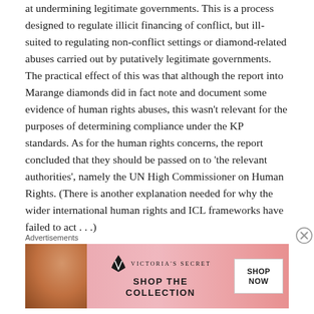at undermining legitimate governments. This is a process designed to regulate illicit financing of conflict, but ill-suited to regulating non-conflict settings or diamond-related abuses carried out by putatively legitimate governments. The practical effect of this was that although the report into Marange diamonds did in fact note and document some evidence of human rights abuses, this wasn't relevant for the purposes of determining compliance under the KP standards. As for the human rights concerns, the report concluded that they should be passed on to 'the relevant authorities', namely the UN High Commissioner on Human Rights. (There is another explanation needed for why the wider international human rights and ICL frameworks have failed to act . . .)
Advertisements
[Figure (other): Victoria's Secret advertisement banner with model, VS logo, 'SHOP THE COLLECTION' text, and 'SHOP NOW' button]